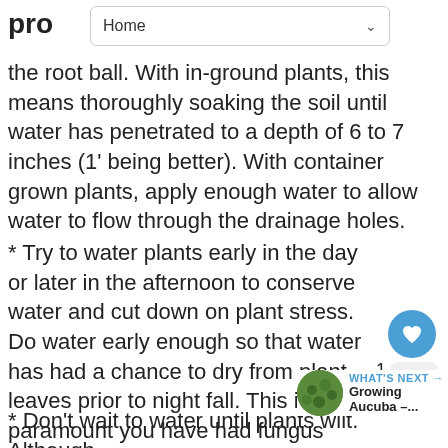pro  Home
the root ball. With in-ground plants, this means thoroughly soaking the soil until water has penetrated to a depth of 6 to 7 inches (1' being better). With container grown plants, apply enough water to allow water to flow through the drainage holes.
* Try to water plants early in the day or later in the afternoon to conserve water and cut down on plant stress. Do water early enough so that water has had a chance to dry from plant leaves prior to night fall. This is paramount you have had fungus problems.
* Don't wait to water until plants wilt. Although